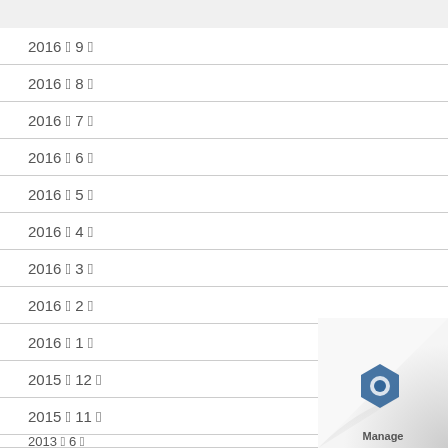2016年9月
2016年8月
2016年7月
2016年6月
2016年5月
2016年4月
2016年3月
2016年2月
2016年1月
2015年12月
2015年11月
2013年6月